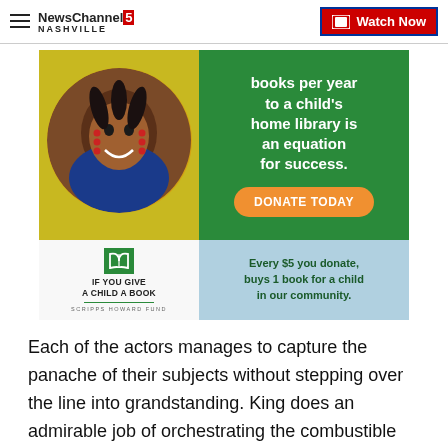NewsChannel 5 NASHVILLE | Watch Now
[Figure (infographic): Charity advertisement for 'If You Give a Child a Book' Scripps Howard Fund. Shows a smiling child on a yellow-green background, with green panel reading 'books per year to a child's home library is an equation for success.' with an orange DONATE TODAY button. Bottom section shows book logo, organization name, and light blue panel with text 'Every $5 you donate, buys 1 book for a child in our community.']
Each of the actors manages to capture the panache of their subjects without stepping over the line into grandstanding. King does an admirable job of orchestrating the combustible talents, giving each a fair voice and share of screen time.